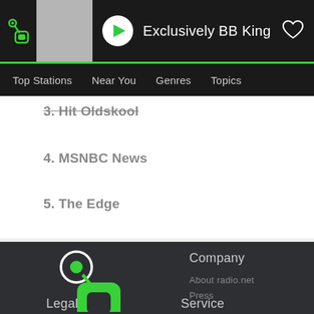Exclusively BB King
Top Stations  Near You  Genres  Topics
3. Hit Oldskool
4. MSNBC News
5. The Edge
[Figure (logo): radio.net logo - green rounded square with circle/antenna icon in white on dark footer background]
Company
About radio.net
Press
Advertise with us
Broadcast with us
Legal
Service